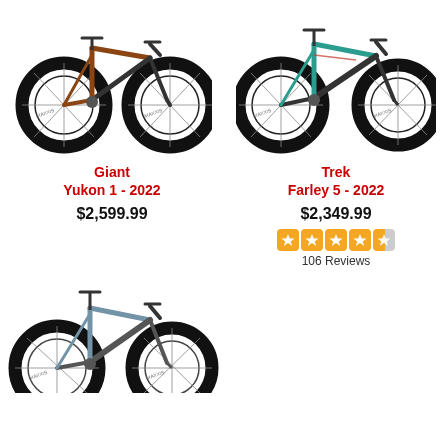[Figure (photo): Giant Yukon 1 2022 fat bike in copper/brown color, side profile view]
[Figure (photo): Trek Farley 5 2022 fat bike in teal/green color, side profile view]
Giant
Yukon 1 - 2022
$2,599.99
Trek
Farley 5 - 2022
$2,349.99
[Figure (other): 4.5 star rating displayed as 5 orange star boxes]
106 Reviews
[Figure (photo): Blue/grey fat bike partial view, bottom of page]